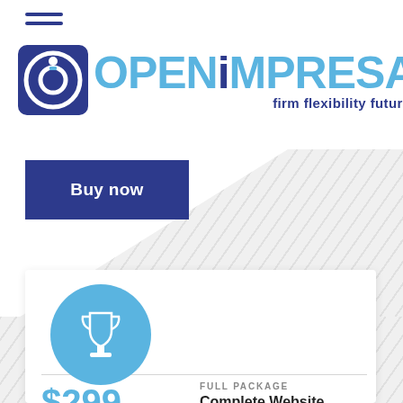[Figure (logo): OpenImpresa logo with icon and text 'firm flexibility future']
Buy now
[Figure (illustration): Trophy icon in a light blue circle]
FULL PACKAGE
$299
Complete Website